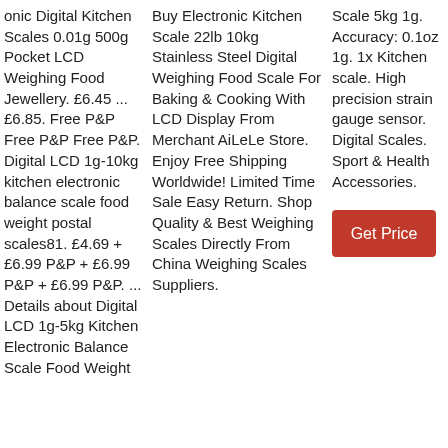onic Digital Kitchen Scales 0.01g 500g Pocket LCD Weighing Food Jewellery. £6.45 ... £6.85. Free P&P Free P&P Free P&P. Digital LCD 1g-10kg kitchen electronic balance scale food weight postal scales81. £4.69 + £6.99 P&P + £6.99 P&P + £6.99 P&P. ... Details about Digital LCD 1g-5kg Kitchen Electronic Balance Scale Food Weight
Buy Electronic Kitchen Scale 22lb 10kg Stainless Steel Digital Weighing Food Scale For Baking & Cooking With LCD Display From Merchant AiLeLe Store. Enjoy Free Shipping Worldwide! Limited Time Sale Easy Return. Shop Quality & Best Weighing Scales Directly From China Weighing Scales Suppliers.
Scale 5kg 1g. Accuracy: 0.1oz 1g. 1x Kitchen scale. High precision strain gauge sensor. Digital Scales. Sport & Health Accessories.
Get Price